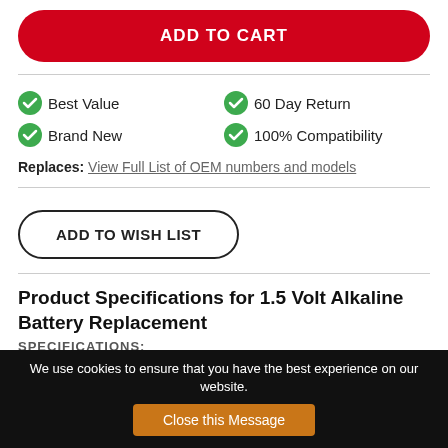ADD TO CART
Best Value
60 Day Return
Brand New
100% Compatibility
Replaces: View Full List of OEM numbers and models
ADD TO WISH LIST
Product Specifications for 1.5 Volt Alkaline Battery Replacement
SPECIFICATIONS:
We use cookies to ensure that you have the best experience on our website. Close this Message